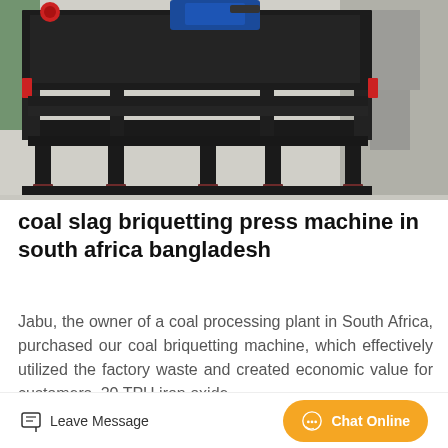[Figure (photo): Photograph of a large black coal slag briquetting press machine on a factory floor, showing heavy steel frame construction with a blue motor on top and red accent pieces.]
coal slag briquetting press machine in south africa bangladesh
Jabu, the owner of a coal processing plant in South Africa, purchased our coal briquetting machine, which effectively utilized the factory waste and created economic value for customers. 20 TPH iron oxide...